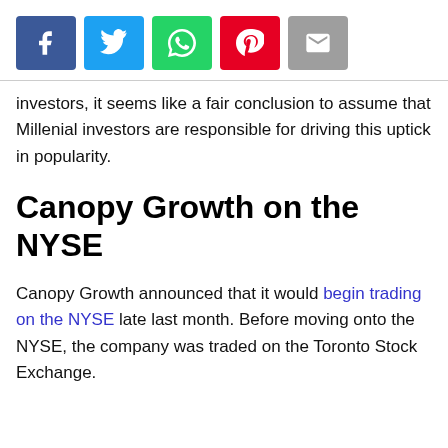[Figure (other): Social sharing buttons: Facebook (blue), Twitter (light blue), WhatsApp (green), Pinterest (red), Email (grey)]
investors, it seems like a fair conclusion to assume that Millenial investors are responsible for driving this uptick in popularity.
Canopy Growth on the NYSE
Canopy Growth announced that it would begin trading on the NYSE late last month. Before moving onto the NYSE, the company was traded on the Toronto Stock Exchange.